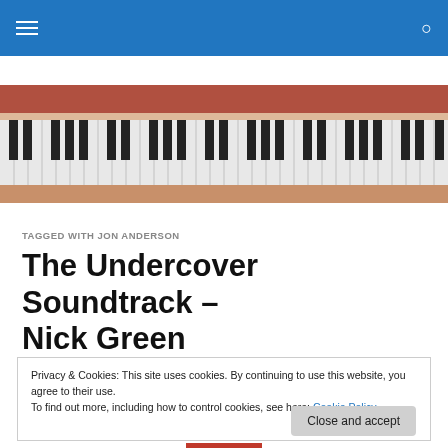[Figure (photo): Close-up photo of a grand piano keyboard with wooden frame, showing white and black keys extending across the full width.]
TAGGED WITH JON ANDERSON
The Undercover Soundtrack – Nick Green
Privacy & Cookies: This site uses cookies. By continuing to use this website, you agree to their use.
To find out more, including how to control cookies, see here: Cookie Policy
Close and accept